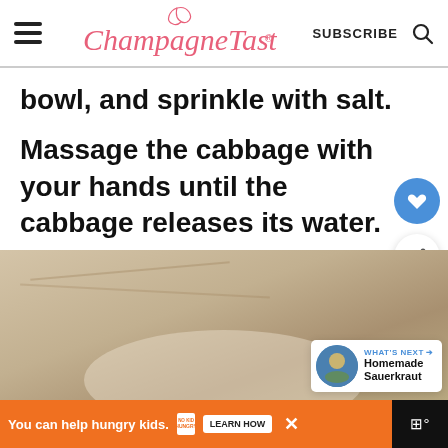Champagne Tastes — SUBSCRIBE
bowl, and sprinkle with salt.
Massage the cabbage with your hands until the cabbage releases its water.
[Figure (photo): Close-up photo of cabbage in a bowl being massaged, showing water released from the cabbage with a 'WHAT'S NEXT → Homemade Sauerkraut' overlay in the corner.]
You can help hungry kids. NO KID HUNGRY LEARN HOW